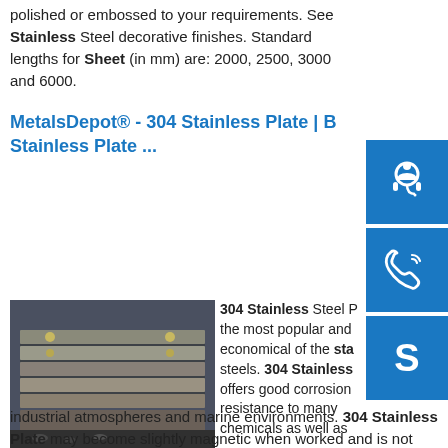polished or embossed to your requirements. See Stainless Steel decorative finishes. Standard lengths for Sheet (in mm) are: 2000, 2500, 3000 and 6000.
MetalsDepot® - 304 Stainless Plate | B Stainless Plate ...
[Figure (photo): Stainless steel plates stacked in an industrial setting]
304 Stainless Steel P the most popular and economical of the sta steels. 304 Stainless offers good corrosion resistance to many chemicals as well as industrial atmospheres and marine environments. 304 Stainless Plate may become slightly magnetic when worked and is not heat treatable.. Specifications: AISI 304/304L, ASTM A240, AMS 5513/5511sp.info Grade 304 Stainless Steel Sheet Thickness 0.5mm to 3mm ...Quality Grade 304 Stainless Steel Sheet Thickness
[Figure (other): Customer support headset icon (blue square)]
[Figure (other): Phone/call icon (blue square)]
[Figure (other): Skype icon (blue square)]